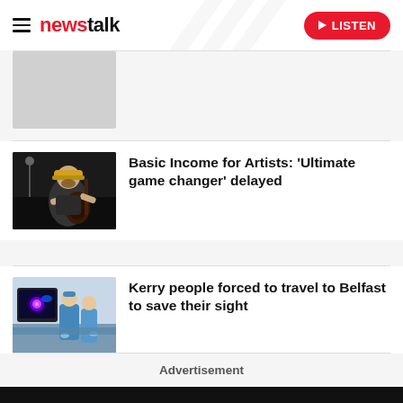newstalk | LISTEN
[Figure (photo): Placeholder thumbnail image (light gray)]
[Figure (photo): Musician playing guitar on dark stage, wearing a yellow cap]
Basic Income for Artists: 'Ultimate game changer' delayed
[Figure (photo): Medical/surgical scene with person in scrubs near medical equipment]
Kerry people forced to travel to Belfast to save their sight
Advertisement